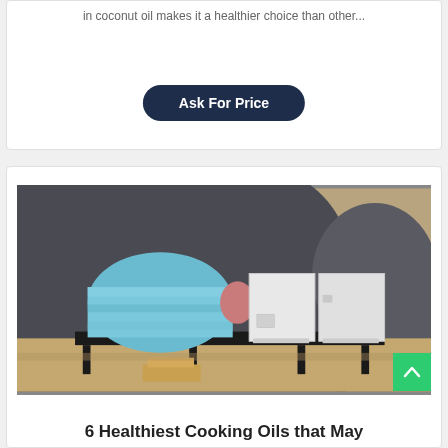in coconut oil makes it a healthier choice than other...
Ask For Price
[Figure (photo): Industrial machinery on a metal frame in a warehouse setting. A machine wrapped in blue plastic sheeting sits on the left, with white rectangular machine units on the right, all mounted on a black steel platform. A large cylindrical dark grey tank is visible in the background.]
6 Healthiest Cooking Oils that May